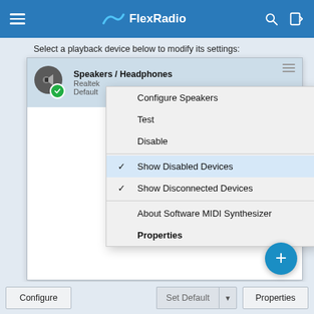[Figure (screenshot): FlexRadio documentation screenshot showing Windows Sound playback device dialog with a right-click context menu open. The context menu has options: Configure Speakers, Test, Disable, (checked) Show Disabled Devices, (checked) Show Disconnected Devices, About Software MIDI Synthesizer, Properties (bold). The selected device is Speakers / Headphones (Realtek, Default). Bottom buttons: Configure, Set Default (with dropdown arrow), Properties.]
Select a playback device below to modify its settings:
Configure Speakers
Test
Disable
✓ Show Disabled Devices
✓ Show Disconnected Devices
About Software MIDI Synthesizer
Properties